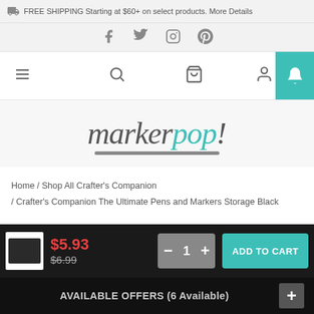FREE SHIPPING Starting at $60+ on select products. More Details
[Figure (screenshot): Social media icons: Facebook, Twitter, Instagram, Pinterest]
[Figure (screenshot): Navigation bar with hamburger menu, search, cart, profile, and teal notification bell icons]
[Figure (logo): markerpop! logo in gray italic script with teal 'pop' letters and gray underline]
Home / Shop All Crafter's Companion / Crafter's Companion The Ultimate Pens and Markers Storage Black
[Figure (screenshot): Product cart bar showing product thumbnail, sale price $5.93, original price $6.99, quantity selector with 1, and ADD TO CART button]
AVAILABLE OFFERS (6 Available)